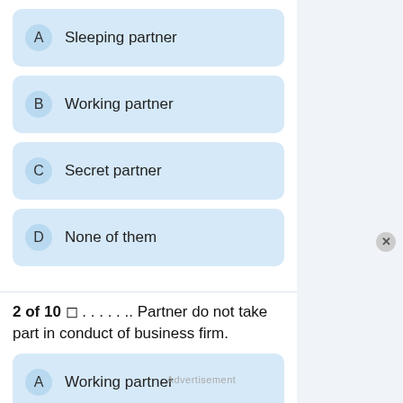A  Sleeping partner
B  Working partner
C  Secret partner
D  None of them
2 of 10 ◻ . . . . . .. Partner do not take part in conduct of business firm.
A  Working partner
B  Secret partner